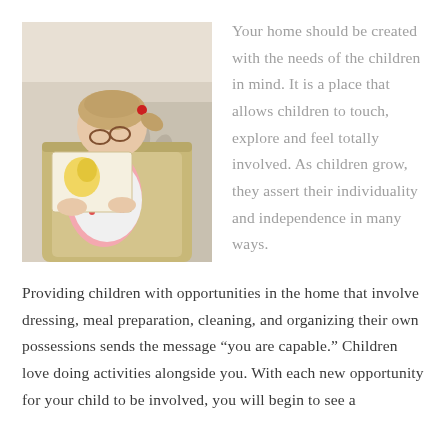[Figure (photo): A young girl with glasses and a colorful top sits in a wooden chair or seat, reading a picture book. She has her hair pulled back with a red hair tie. The background shows a light-colored couch with a patterned throw.]
Your home should be created with the needs of the children in mind. It is a place that allows children to touch, explore and feel totally involved. As children grow, they assert their individuality and independence in many ways.
Providing children with opportunities in the home that involve dressing, meal preparation, cleaning, and organizing their own possessions sends the message “you are capable.” Children love doing activities alongside you. With each new opportunity for your child to be involved, you will begin to see a